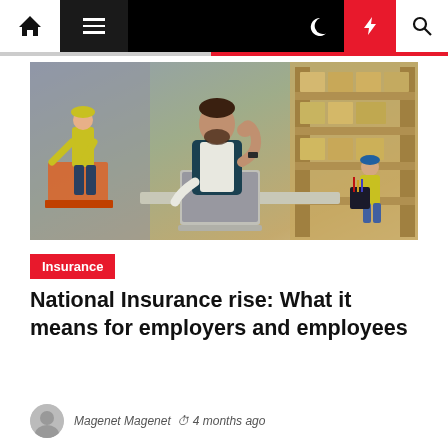Navigation bar with home, menu, dark mode, lightning/breaking news, and search icons
[Figure (photo): A man in a dark vest sitting at a desk with a laptop in a warehouse, looking thoughtful with his hand on his chin. Warehouse workers in yellow safety vests are visible in the background among stacked shelves.]
Insurance
National Insurance rise: What it means for employers and employees
Magenet Magenet  4 months ago